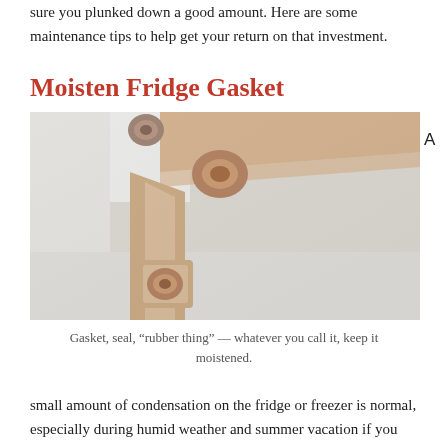sure you plunked down a good amount. Here are some maintenance tips to help get your return on that investment.
Moisten Fridge Gasket
[Figure (photo): Close-up photo of a refrigerator door gasket/seal, showing the rubber seal at the corner of the fridge, with a beige/cream colored gasket against a white fridge body.]
Gasket, seal, “rubber thing” — whatever you call it, keep it moistened.
small amount of condensation on the fridge or freezer is normal, especially during humid weather and summer vacation if you have